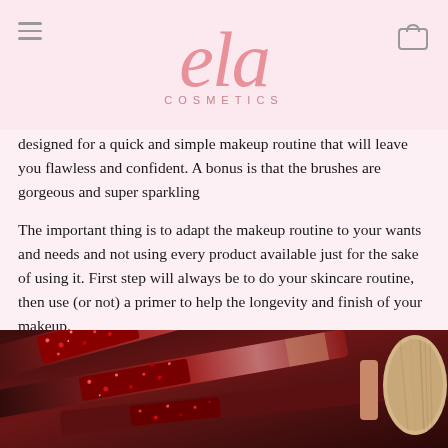ela COSMETICS
designed for a quick and simple makeup routine that will leave you flawless and confident. A bonus is that the brushes are gorgeous and super sparkling
The important thing is to adapt the makeup routine to your wants and needs and not using every product available just for the sake of using it. First step will always be to do your skincare routine, then use (or not) a primer to help the longevity and finish of your makeup.
[Figure (photo): Close-up photo of sparkling glitter makeup brushes with red/burgundy glitter handles on a dark background, with a fluffy brush head visible on the right]